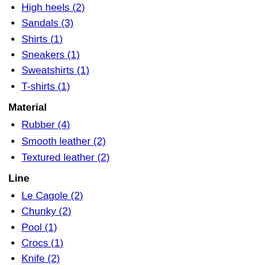High heels (2)
Sandals (3)
Shirts (1)
Sneakers (1)
Sweatshirts (1)
T-shirts (1)
Material
Rubber (4)
Smooth leather (2)
Textured leather (2)
Line
Le Cagole (2)
Chunky (2)
Pool (1)
Crocs (1)
Knife (2)
Track (1)
Afterhour (1)
Clear (9)  Apply